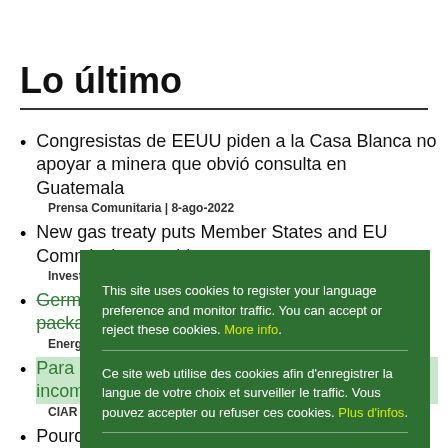Lo último
Congresistas de EEUU piden a la Casa Blanca no apoyar a minera que obvió consulta en Guatemala
Prensa Comunitaria | 8-ago-2022
New gas treaty puts Member States and EU Commission at odds
Investigate Europe | 27-jul-2022
Germany bails out Uniper with multi-billion-euro package
Energy Voice | 26-jul-2022
Para EE.UU. la política de energía mexicana es incompatible con el T-MEC
CIAR Global | 25-jul-2022
Pourquoi le Mexique bat un record de litiges
[Figure (screenshot): Cookie consent overlay in dark green showing three language versions of a cookie notice (English, French, Spanish) with yellow More info/Plus d'infos/Mayor información links and an Ok button.]